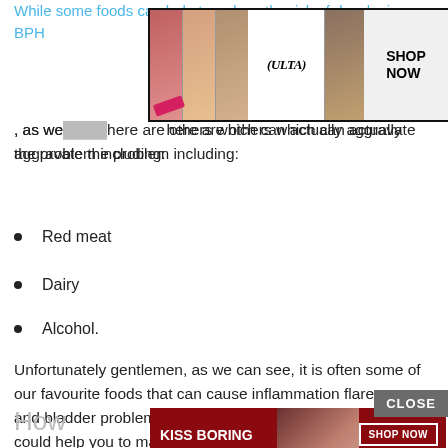While some foods can help to reduce the risk of developing BPH
[Figure (screenshot): ULTA Beauty advertisement banner with makeup imagery and 'SHOP NOW' text]
, as well as here are others which can actually aggravate the problem including:
Red meat
Dairy
Alcohol.
Unfortunately gentlemen, as we can see, it is often some of our favourite foods that can cause inflammation flare-ups and bladder problems however, knowing the main culprits could help you to manage your symptoms better.
How ... nd
[Figure (screenshot): Macy's advertisement banner: 'KISS BORING LIPS GOODBYE' with 'SHOP NOW' button and Macy's star logo]